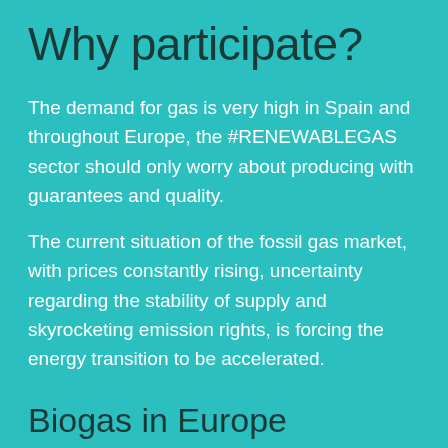Why participate?
The demand for gas is very high in Spain and throughout Europe, the #RENEWABLEGAS sector should only worry about producing with guarantees and quality.
The current situation of the fossil gas market, with prices constantly rising, uncertainty regarding the stability of supply and skyrocketing emission rights, is forcing the energy transition to be accelerated.
Biogas in Europe
The European Union has 18.200 biogas